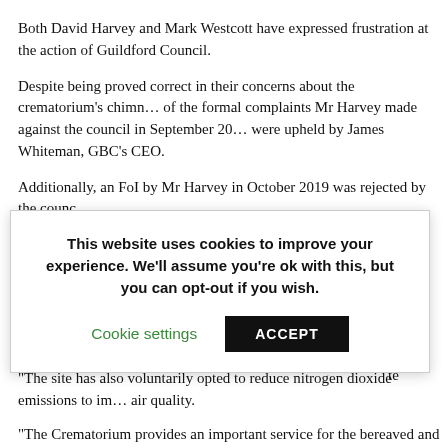Both David Harvey and Mark Westcott have expressed frustration at the action of Guildford Council.
Despite being proved correct in their concerns about the crematorium's chimney, none of the formal complaints Mr Harvey made against the council in September 20... were upheld by James Whiteman, GBC's CEO.
Additionally, an FoI by Mr Harvey in October 2019 was rejected by the council...
[Figure (screenshot): Cookie consent overlay popup with message: 'This website uses cookies to improve your experience. We'll assume you're ok with this, but you can opt-out if you wish.' with Cookie settings and ACCEPT buttons.]
“The site has also voluntarily opted to reduce nitrogen dioxide emissions to improve air quality.
“The Crematorium provides an important service for the bereaved and has done so for over 50 years. It has delivered a significant role during the pandemic. The replacement Crematorium opened in December 2019, which included landscaped courtyards, reflective pools and streams along with new and enhanced landscaping to provide better facilities and a peaceful environment for the bereaved.”